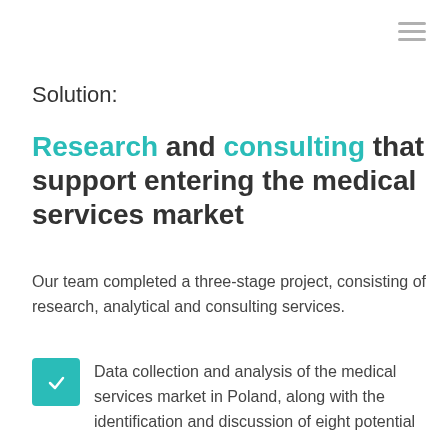Solution:
Research and consulting that support entering the medical services market
Our team completed a three-stage project, consisting of research, analytical and consulting services.
Data collection and analysis of the medical services market in Poland, along with the identification and discussion of eight potential